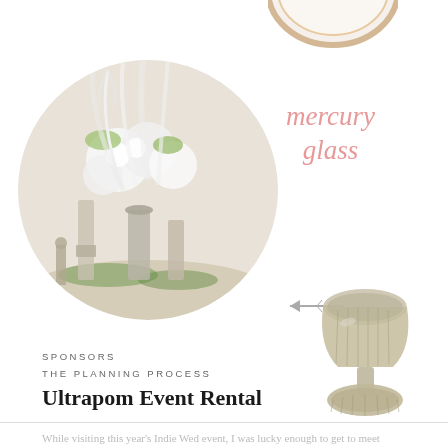[Figure (photo): Partial view of a decorative plate with gold rim at top right corner]
[Figure (photo): Circular cropped photo of a floral wedding centerpiece arrangement with white feathers, white flowers, and mercury glass vases and candlesticks]
mercury glass
[Figure (photo): Mercury glass pedestal bowl/chalice product photo on white background]
SPONSORS
THE PLANNING PROCESS
Ultrapom Event Rental
While visiting this year's Indie Wed event, I was lucky enough to get to meet